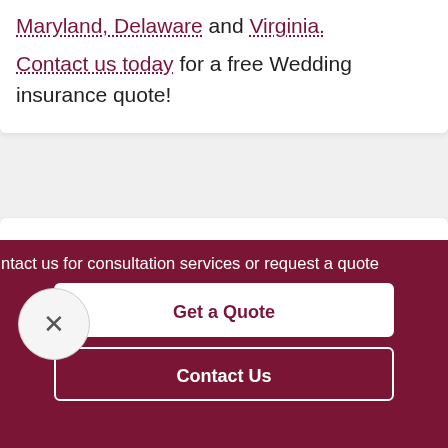Maryland, Delaware and Virginia. Contact us today for a free Wedding insurance quote!
ntact us for consultation services or request a quote
Get a Quote
Contact Us